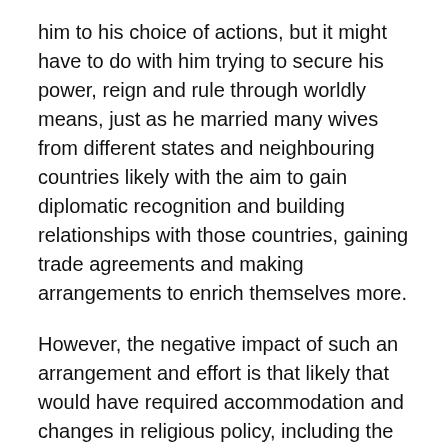him to his choice of actions, but it might have to do with him trying to secure his power, reign and rule through worldly means, just as he married many wives from different states and neighbouring countries likely with the aim to gain diplomatic recognition and building relationships with those countries, gaining trade agreements and making arrangements to enrich themselves more.
However, the negative impact of such an arrangement and effort is that likely that would have required accommodation and changes in religious policy, including the toleration and even promotion of the pagan faith and worship as done by King Solomon and his wives. And that led him and the kingdom down the slippery slope towards sin. The Lord certainly did send reminders to Solomon through his prophets and messengers, but it was likely...